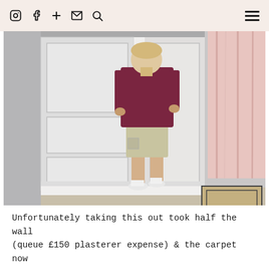Instagram, Facebook, Plus, Email, Search icons on left; Hamburger menu on right
[Figure (photo): A person standing with their back to the camera, wearing a dark maroon t-shirt and light khaki cargo shorts with white sneakers, installing or removing a large white wardrobe/closet frame in a bedroom. The room has grey walls, beige carpet, a pink curtain on the right, and a small rectangular rug near the bottom right.]
Unfortunately taking this out took half the wall (queue £150 plasterer expense) & the carpet now